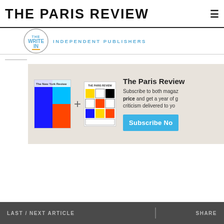THE PARIS REVIEW
[Figure (logo): The Write In circular logo with 'INDEPENDENT PUBLISHERS' text in blue]
[Figure (infographic): Promotional box showing New York Review magazine cover + The Paris Review magazine cover with subscribe call to action. Text: 'The Paris Review Subscribe to both magazines at a special price and get a year of great fiction, poetry, and criticism delivered to your door.' Button: 'Subscribe Now']
LAST / NEXT ARTICLE    SHARE